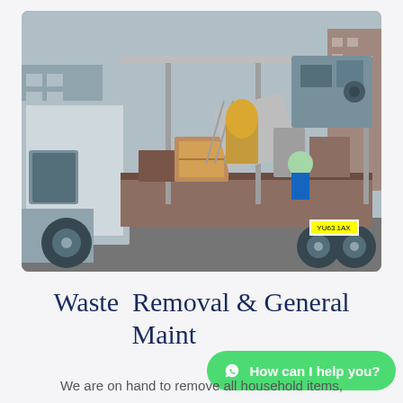[Figure (photo): Photo of a truck/van loaded with miscellaneous junk and waste items including cardboard, metal parts, wood, and various household items, parked on a street with industrial buildings in the background.]
Waste  Removal & General Maint
We are on hand to remove all household items,